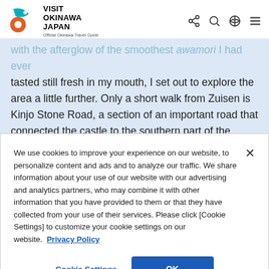VISIT OKINAWA JAPAN — Official Okinawa Travel Guide
with the afterglow of the smoothest awamori I had ever tasted still fresh in my mouth, I set out to explore the area a little further. Only a short walk from Zuisen is Kinjo Stone Road, a section of an important road that connected the castle to the southern part of the island. Walking down the limestone-paved street near Shurijo
We use cookies to improve your experience on our website, to personalize content and ads and to analyze our traffic. We share information about your use of our website with our advertising and analytics partners, who may combine it with other information that you have provided to them or that they have collected from your use of their services. Please click [Cookie Settings] to customize your cookie settings on our website.  Privacy Policy
Cookie Settings
OK